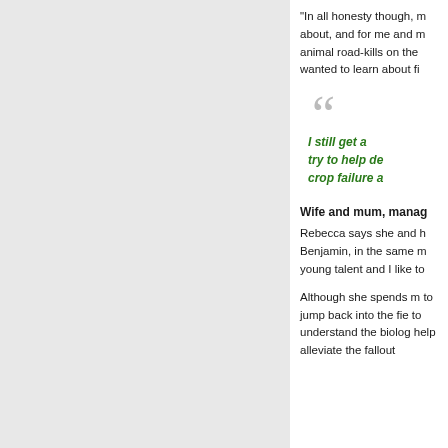“In all honesty though, m about, and for me and m animal road-kills on the wanted to learn about fi
I still get a try to help de crop failure a
Wife and mum, manag
Rebecca says she and Benjamin, in the same m young talent and I like to
Although she spends m to jump back into the fie to understand the biolog help alleviate the fallout